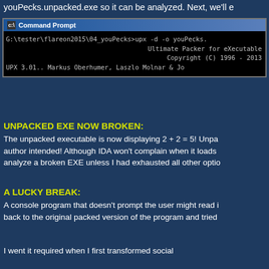youPecks.unpacked.exe so it can be analyzed. Next, we'll e
[Figure (screenshot): Command Prompt window showing upx -d -o youPecks command output with 'Ultimate Packer for eXecutable' and 'Copyright (C) 1996 - 2013' text]
UNPACKED EXE NOW BROKEN:
The unpacked executable is now displaying 2 + 2 = 5! Unpa author intended! Although IDA won't complain when it loads analyze a broken EXE unless I had exhausted all other optio
A LUCKY BREAK:
A console program that doesn't prompt the user might read i back to the original packed version of the program and tried